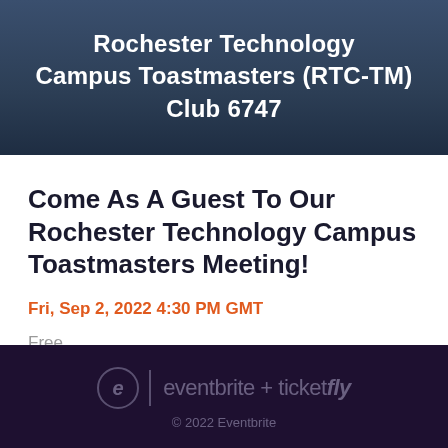Rochester Technology Campus Toastmasters (RTC-TM) Club 6747
Come As A Guest To Our Rochester Technology Campus Toastmasters Meeting!
Fri, Sep 2, 2022 4:30 PM GMT
Free
eventbrite + ticketfly © 2022 Eventbrite